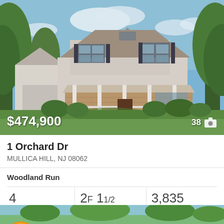[Figure (photo): Exterior photo of a two-story suburban house with wrap-around porch, gray roof, brick and siding facade, green lawn and trees. Price overlay showing $474,900 and photo count 38.]
1 Orchard Dr
MULLICA HILL, NJ 08062
Woodland Run
4 Beds
2F 11/2 Baths
3,835 Sq.Ft.
BHHS Fox & Roach-Mullica Hill South
[Figure (photo): Partial view of a second listing photo strip at the bottom of the page showing greenery and sky.]